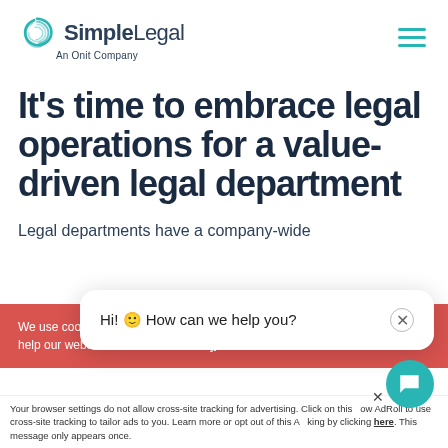[Figure (logo): SimpleLegal logo with teal swirl icon and text 'SimpleLegal An Onit Company']
It’s time to embrace legal operations for a value-driven legal department
Legal departments have a company-wide
[Figure (screenshot): Cookie consent banner (red background): 'We use cookies... help our webs...' with Accept button and AdRoll tracking notice at bottom. Overlaid by chat popup: 'Hi! How can we help you?' with close button and teal chat circle button.]